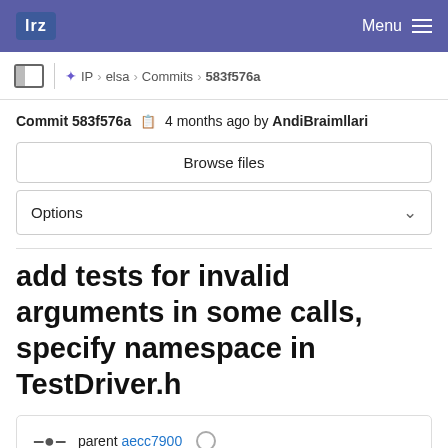lrz  Menu
IP > elsa > Commits > 583f576a
Commit 583f576a  4 months ago by AndiBraimllari
Browse files
Options
add tests for invalid arguments in some calls, specify namespace in TestDriver.h
parent aecc7900
1 merge request !207 Draft: metrics (RE, PSNR)